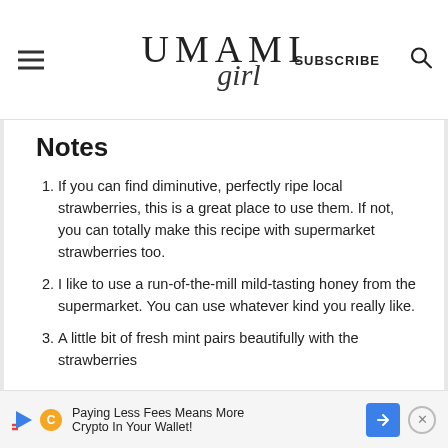UMAMI girl — SUBSCRIBE
Notes
If you can find diminutive, perfectly ripe local strawberries, this is a great place to use them. If not, you can totally make this recipe with supermarket strawberries too.
I like to use a run-of-the-mill mild-tasting honey from the supermarket. You can use whatever kind you really like.
A little bit of fresh mint pairs beautifully with the strawberries
Paying Less Fees Means More Crypto In Your Wallet!